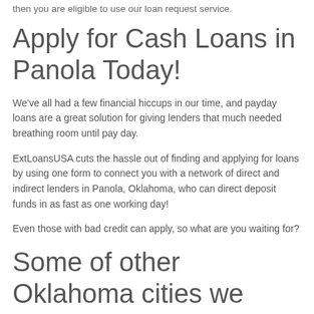then you are eligible to use our loan request service.
Apply for Cash Loans in Panola Today!
We've all had a few financial hiccups in our time, and payday loans are a great solution for giving lenders that much needed breathing room until pay day.
ExtLoansUSA cuts the hassle out of finding and applying for loans by using one form to connect you with a network of direct and indirect lenders in Panola, Oklahoma, who can direct deposit funds in as fast as one working day!
Even those with bad credit can apply, so what are you waiting for?
Some of other Oklahoma cities we